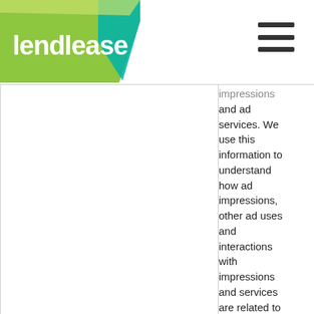[Figure (logo): Lendlease logo — green and teal geometric shape with white text 'lendlease']
impressions and ad services. We use this information to understand how ad impressions, other ad uses and interactions with impressions and services are related to site visits to the site.